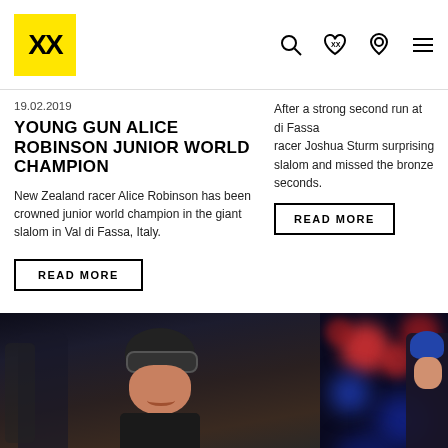XX (Völkl logo) navigation header with search, wishlist, store locator, and menu icons
19.02.2019
YOUNG GUN ALICE ROBINSON JUNIOR WORLD CHAMPION
New Zealand racer Alice Robinson has been crowned junior world champion in the giant slalom in Val di Fassa, Italy.
After a strong second run at … di Fassa racer Joshua Sturm surprising slalom and missed the bronze seconds.
READ MORE
READ MORE
[Figure (photo): Two ski racers celebrating, left photo shows a smiling male racer in dark gear with Jabo branding, right photo shows another racer with colorful bokeh lights in background]